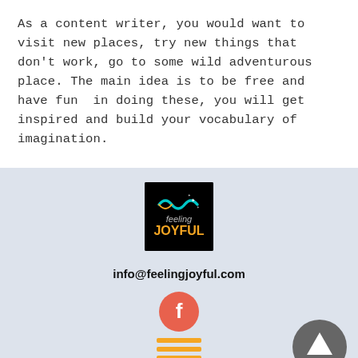As a content writer, you would want to visit new places, try new things that don't work, go to some wild adventurous place. The main idea is to be free and have fun  in doing these, you will get inspired and build your vocabulary of imagination.
[Figure (logo): Feeling Joyful logo — black square background with teal infinity-like symbol and stars, text 'feeling' in gray italic and 'JOYFUL' in orange bold.]
info@feelingjoyful.com
[Figure (illustration): Facebook icon — coral/salmon circular button with white 'f' letter.]
[Figure (illustration): Hamburger menu icon — three orange horizontal lines.]
[Figure (illustration): Scroll-to-top button — dark gray circle with white upward arrow.]